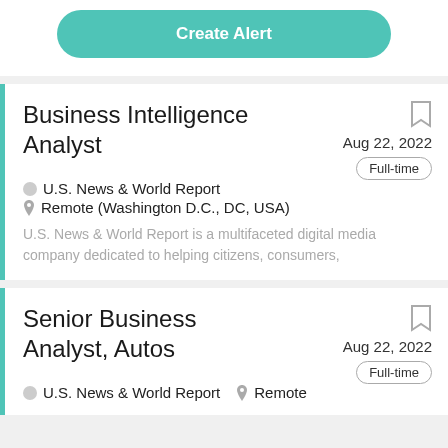Create Alert
Business Intelligence Analyst
Aug 22, 2022
Full-time
U.S. News & World Report
Remote (Washington D.C., DC, USA)
U.S. News & World Report is a multifaceted digital media company dedicated to helping citizens, consumers,
Senior Business Analyst, Autos
Aug 22, 2022
Full-time
U.S. News & World Report
Remote